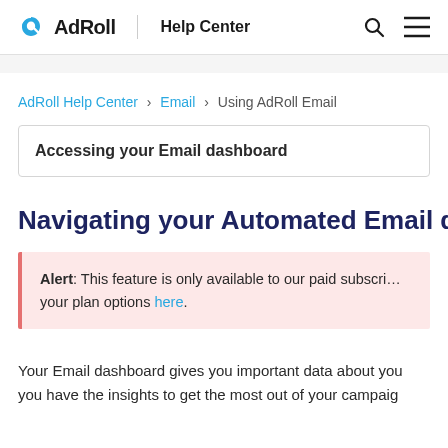AdRoll | Help Center
AdRoll Help Center › Email › Using AdRoll Email
Accessing your Email dashboard
Navigating your Automated Email dash
Alert: This feature is only available to our paid subscri… your plan options here.
Your Email dashboard gives you important data about you have the insights to get the most out of your campaig